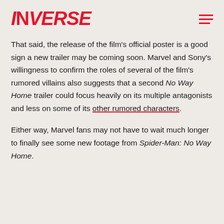INVERSE
That said, the release of the film's official poster is a good sign a new trailer may be coming soon. Marvel and Sony's willingness to confirm the roles of several of the film's rumored villains also suggests that a second No Way Home trailer could focus heavily on its multiple antagonists and less on some of its other rumored characters.
Either way, Marvel fans may not have to wait much longer to finally see some new footage from Spider-Man: No Way Home.